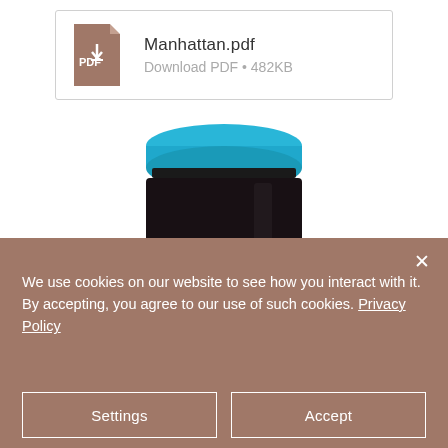[Figure (other): PDF download link box showing Manhattan.pdf file icon with text 'Manhattan.pdf' and 'Download PDF • 482KB']
[Figure (photo): A dark glass jar with a bright blue lid, photographed against a white background, partially visible at bottom of page]
We use cookies on our website to see how you interact with it. By accepting, you agree to our use of such cookies. Privacy Policy
Settings
Accept